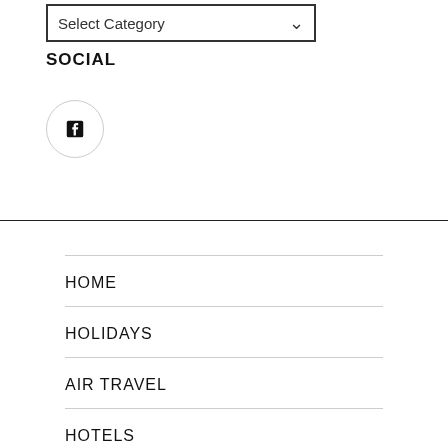[Figure (screenshot): A dropdown select box labeled 'Select Category' with a downward arrow]
SOCIAL
[Figure (logo): Facebook icon inside a circular border]
HOME
HOLIDAYS
AIR TRAVEL
HOTELS
TRAVEL